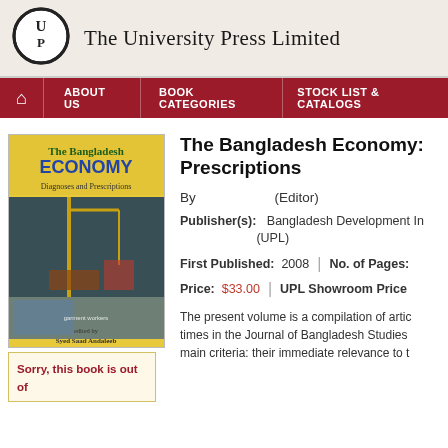The University Press Limited
[Figure (logo): UPL circular logo with stylized letters]
ABOUT US | BOOK CATEGORIES | STOCK LIST & CATALOGS
[Figure (illustration): Book cover: The Bangladesh Economy - Diagnoses and Prescriptions, edited by Syed Saad Andaleeb, yellow background with industrial crane and workers images]
The Bangladesh Economy: Diagnoses and Prescriptions
By (Editor)
Publisher(s): Bangladesh Development Initiative (UPL)
First Published: 2008 | No. of Pages:
Price: $33.00 | UPL Showroom Price
The present volume is a compilation of articles published at various times in the Journal of Bangladesh Studies. The collection followed two main criteria: their immediate relevance to t